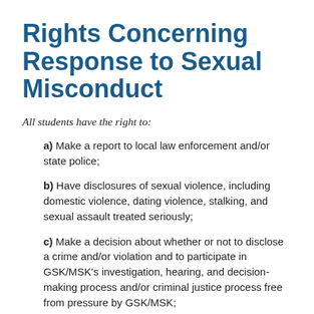Rights Concerning Response to Sexual Misconduct
All students have the right to:
a) Make a report to local law enforcement and/or state police;
b) Have disclosures of sexual violence, including domestic violence, dating violence, stalking, and sexual assault treated seriously;
c) Make a decision about whether or not to disclose a crime and/or violation and to participate in GSK/MSK's investigation, hearing, and decision-making process and/or criminal justice process free from pressure by GSK/MSK;